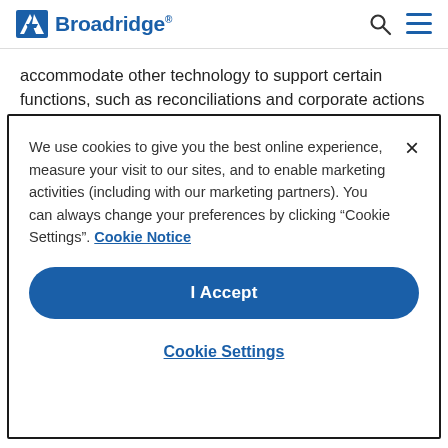Broadridge
accommodate other technology to support certain functions, such as reconciliations and corporate actions processing, which is provided by SmartStream, another key alliance partner of Accenture.
In conjunction with the launch of Accenture Post Trade
We use cookies to give you the best online experience, measure your visit to our sites, and to enable marketing activities (including with our marketing partners). You can always change your preferences by clicking “Cookie Settings”. Cookie Notice
I Accept
Cookie Settings